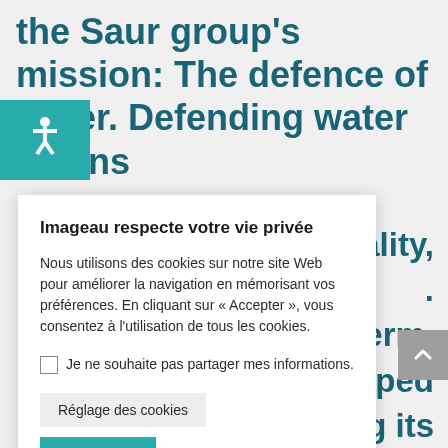the Saur group's mission: The defence of water. Defending water means
[Figure (screenshot): Cookie consent dialog overlay on a website. Dialog contains title 'Imageau respecte votre vie privée', body text about cookies, a checkbox for opting out, and buttons for 'Réglage des cookies', 'Accepter', and 'Rejeter'.]
d quality,
ng term.
eveloped
ng its
dicated to
nowledge
he
ensure